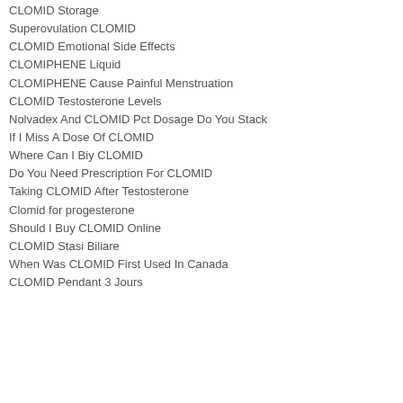CLOMID Storage
Superovulation CLOMID
CLOMID Emotional Side Effects
CLOMIPHENE Liquid
CLOMIPHENE Cause Painful Menstruation
CLOMID Testosterone Levels
Nolvadex And CLOMID Pct Dosage Do You Stack
If I Miss A Dose Of CLOMID
Where Can I Biy CLOMID
Do You Need Prescription For CLOMID
Taking CLOMID After Testosterone
Clomid for progesterone
Should I Buy CLOMID Online
CLOMID Stasi Biliare
When Was CLOMID First Used In Canada
CLOMID Pendant 3 Jours